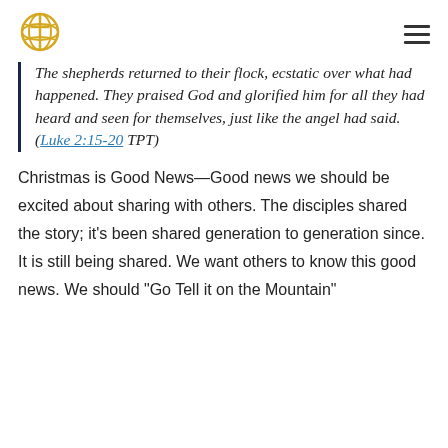[Figure (logo): Globe with cross logo in gold/yellow outline]
The shepherds returned to their flock, ecstatic over what had happened. They praised God and glorified him for all they had heard and seen for themselves, just like the angel had said. (Luke 2:15-20 TPT)
Christmas is Good News—Good news we should be excited about sharing with others. The disciples shared the story; it's been shared generation to generation since. It is still being shared. We want others to know this good news. We should "Go Tell it on the Mountain"